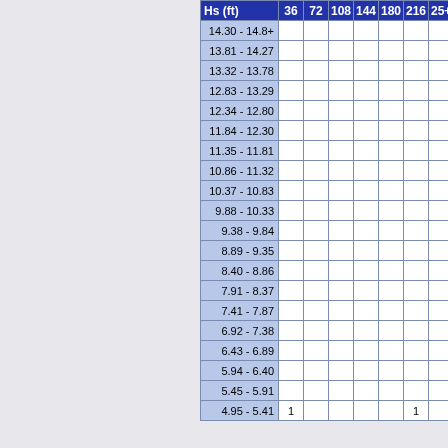| Hs (ft) | 36 | 72 | 108 | 144 | 180 | 216 | 25+ |
| --- | --- | --- | --- | --- | --- | --- | --- |
| 14.30 - 14.8+ |  |  |  |  |  |  |  |
| 13.81 - 14.27 |  |  |  |  |  |  |  |
| 13.32 - 13.78 |  |  |  |  |  |  |  |
| 12.83 - 13.29 |  |  |  |  |  |  |  |
| 12.34 - 12.80 |  |  |  |  |  |  |  |
| 11.84 - 12.30 |  |  |  |  |  |  |  |
| 11.35 - 11.81 |  |  |  |  |  |  |  |
| 10.86 - 11.32 |  |  |  |  |  |  |  |
| 10.37 - 10.83 |  |  |  |  |  |  |  |
| 9.88 - 10.33 |  |  |  |  |  |  |  |
| 9.38 - 9.84 |  |  |  |  |  |  |  |
| 8.89 - 9.35 |  |  |  |  |  |  |  |
| 8.40 - 8.86 |  |  |  |  |  |  |  |
| 7.91 - 8.37 |  |  |  |  |  |  |  |
| 7.41 - 7.87 |  |  |  |  |  |  |  |
| 6.92 - 7.38 |  |  |  |  |  |  |  |
| 6.43 - 6.89 |  |  |  |  |  |  |  |
| 5.94 - 6.40 |  |  |  |  |  |  |  |
| 5.45 - 5.91 |  |  |  |  |  |  |  |
| 4.95 - 5.41 | 1 |  |  |  |  | 1 |  |